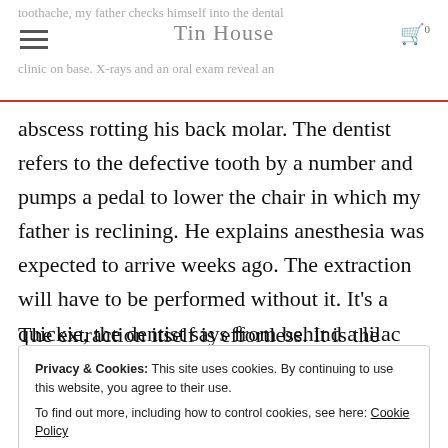toothache, my father checks himself into the dental clinic on base. X-rays and an oral exam reveal an
abscess rotting his back molar. The dentist refers to the defective tooth by a number and pumps a pedal to lower the chair in which my father is reclining. He explains anesthesia was expected to arrive weeks ago. The extraction will have to be performed without it. It’s a quickie, the dentist says from behind a lilac paper mask.
The extraction itself is effortless. It is the open,
Privacy & Cookies: This site uses cookies. By continuing to use this website, you agree to their use.
To find out more, including how to control cookies, see here: Cookie Policy
Close and accept